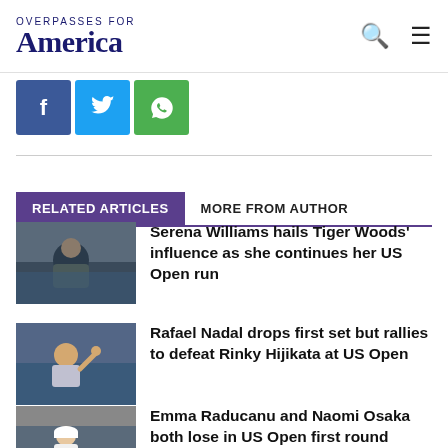OVERPASSES FOR America
[Figure (screenshot): Social share buttons: Facebook (blue), Twitter (light blue), WhatsApp (green)]
RELATED ARTICLES   MORE FROM AUTHOR
Serena Williams hails Tiger Woods' influence as she continues her US Open run
Rafael Nadal drops first set but rallies to defeat Rinky Hijikata at US Open
Emma Raducanu and Naomi Osaka both lose in US Open first round